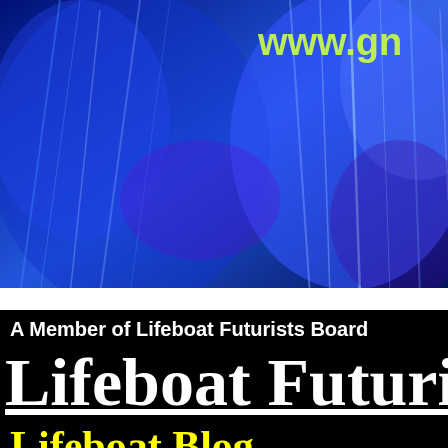[Figure (photo): Blue and purple glowing light streaks background image with partial URL text 'www.gn...' in yellow-green at the top right]
A Member of Lifeboat Futurists Board
Lifeboat Futuri...
Lifeboat Blog
[Figure (photo): Dark background with colorful vertical bars and partial text 'Futu...' visible at the bottom of the page]